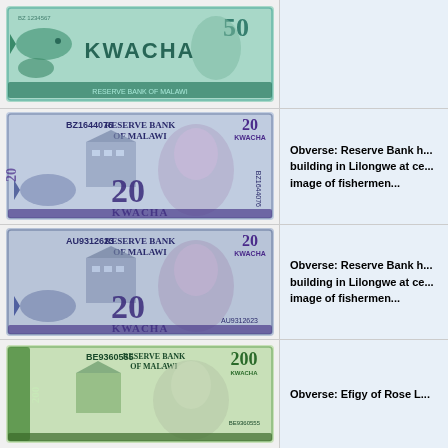[Figure (photo): Malawi 50 Kwacha banknote obverse showing fish and KWACHA text]
[Figure (photo): Malawi 20 Kwacha banknote obverse, serial BZ1644076, Reserve Bank of Malawi building in Lilongwe, image of fishermen]
Obverse: Reserve Bank h... building in Lilongwe at ce... image of fishermen...
[Figure (photo): Malawi 20 Kwacha banknote obverse, serial AU9312623, Reserve Bank of Malawi building in Lilongwe, image of fishermen]
Obverse: Reserve Bank h... building in Lilongwe at ce... image of fishermen...
[Figure (photo): Malawi 200 Kwacha banknote obverse, serial BE9360555, Reserve Bank of Malawi, Efigy of Rose L...]
Obverse: Efigy of Rose L...